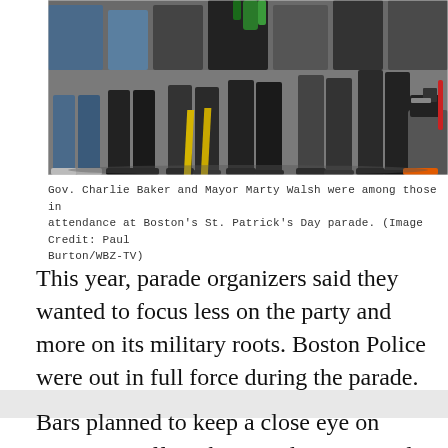[Figure (photo): Crowd scene at Boston's St. Patrick's Day parade showing legs of marchers on a street with yellow road markings. A photographer with a Canon EOS camera is visible at the right edge.]
Gov. Charlie Baker and Mayor Marty Walsh were among those in attendance at Boston's St. Patrick's Day parade. (Image Credit: Paul Burton/WBZ-TV)
This year, parade organizers said they wanted to focus less on the party and more on its military roots. Boston Police were out in full force during the parade.
Bars planned to keep a close eye on patrons. Staff at The Broadway entered the day preparing to serve above...